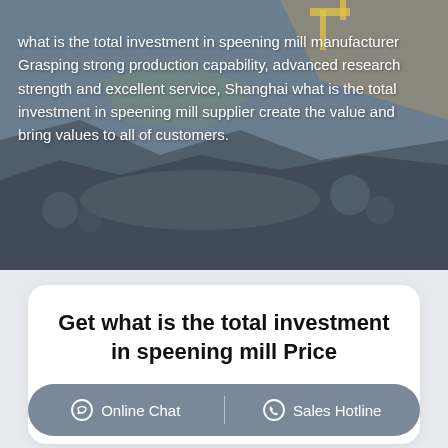[Figure (photo): Aerial view of an open-pit mining site with excavation equipment and rocky terrain, serving as a hero background image with white text overlay.]
what is the total investment in speening mill manufacturer Grasping strong production capability, advanced research strength and excellent service, Shanghai what is the total investment in speening mill supplier create the value and bring values to all of customers.
Get what is the total investment in speening mill Price
Products: Please Select!
Online Chat | Sales Hotline